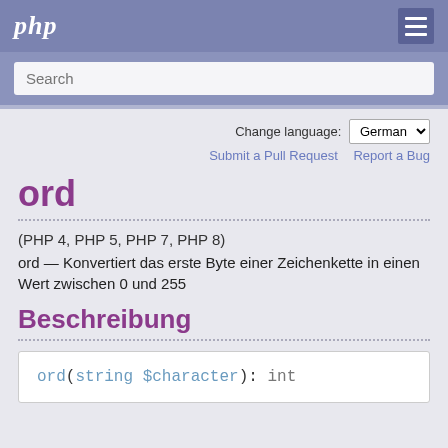php
Search
Change language: German
Submit a Pull Request   Report a Bug
ord
(PHP 4, PHP 5, PHP 7, PHP 8)
ord — Konvertiert das erste Byte einer Zeichenkette in einen Wert zwischen 0 und 255
Beschreibung